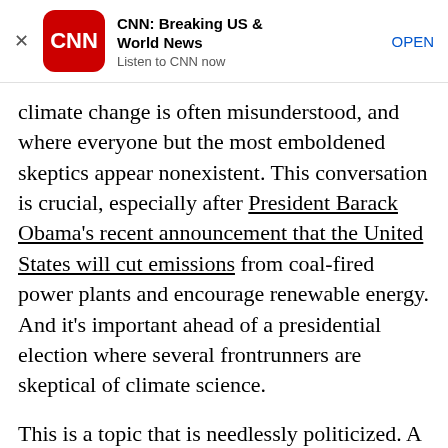[Figure (other): CNN app advertisement banner with CNN logo, title 'CNN: Breaking US & World News', subtitle 'Listen to CNN now', and OPEN button]
climate change is often misunderstood, and where everyone but the most emboldened skeptics appear nonexistent. This conversation is crucial, especially after President Barack Obama's recent announcement that the United States will cut emissions from coal-fired power plants and encourage renewable energy. And it's important ahead of a presidential election where several frontrunners are skeptical of climate science.

This is a topic that is needlessly politicized. A narrow majority of people in Woodward County say climate change is happening. Yet, they rarely speak of it.

Place the...